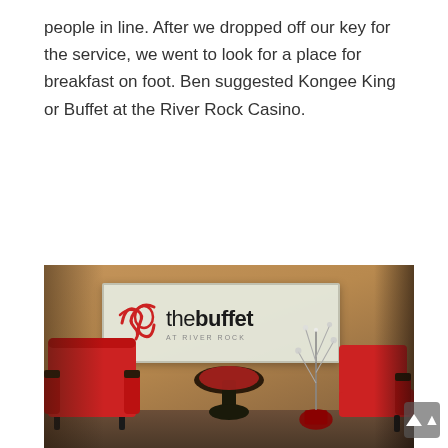people in line. After we dropped off our key for the service, we went to look for a place for breakfast on foot. Ben suggested Kongee King or Buffet at the River Rock Casino.
[Figure (photo): Interior lobby/waiting area of 'The Buffet at River Rock' casino restaurant. A frosted glass sign reads 'the buffet at River Rock' with a red stylized logo. Two red armchairs flank a small round table with a decorative branch arrangement. Warm tan/brown walls in background.]